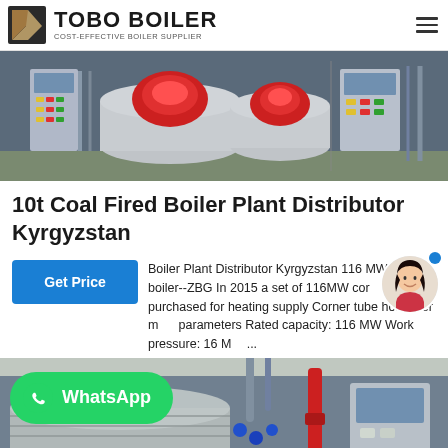TOBO BOILER - COST-EFFECTIVE BOILER SUPPLIER
[Figure (photo): Industrial boiler equipment room showing two red-burner boilers with control panels and piping systems]
10t Coal Fired Boiler Plant Distributor Kyrgyzstan
Boiler Plant Distributor Kyrgyzstan 116 MW corner boiler--ZBG In 2015 a set of 116MW corner tube is purchased for heating supply Corner tube hot water main parameters Rated capacity: 116 MW Work pressure: 16 M...
[Figure (photo): Industrial boiler plant equipment with large cylindrical boilers and red pipe fittings, WhatsApp contact button overlay]